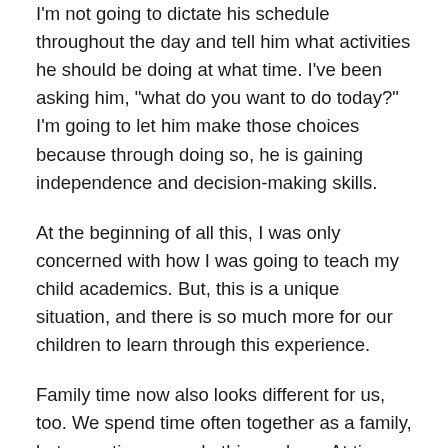I'm not going to dictate his schedule throughout the day and tell him what activities he should be doing at what time. I've been asking him, "what do you want to do today?" I'm going to let him make those choices because through doing so, he is gaining independence and decision-making skills.
At the beginning of all this, I was only concerned with how I was going to teach my child academics. But, this is a unique situation, and there is so much more for our children to learn through this experience.
Family time now also looks different for us, too. We spend time often together as a family, but sometimes, we do things alone. At times, we are all on different floors of our home doing what we each do to relax – my son playing Fortnite in the dining room, my fiancé browsing and reading on his computer in the basement, and me upstairs in the bath reading a book. I have always felt this obligation to constantly be with my son, for us to always be doing something together as a family. In the past, I have felt extreme